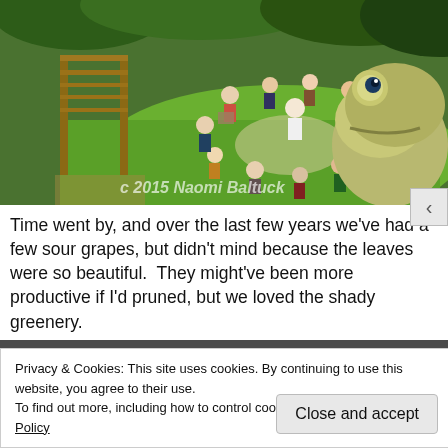[Figure (photo): Outdoor garden meeting scene with people seated in a circle on lawn chairs around a table. A large frog statue is visible in the foreground right. There is a wooden pergola structure on the left. A watermark reads 'c 2015 Naomi Baltuck'.]
Time went by, and over the last few years we've had a few sour grapes, but didn't mind because the leaves were so beautiful.  They might've been more productive if I'd pruned, but we loved the shady greenery.
[Figure (photo): Partial view of a garden strip at the bottom of the page, partially obscured by cookie banner.]
Privacy & Cookies: This site uses cookies. By continuing to use this website, you agree to their use.
To find out more, including how to control cookies, see here: Cookie Policy